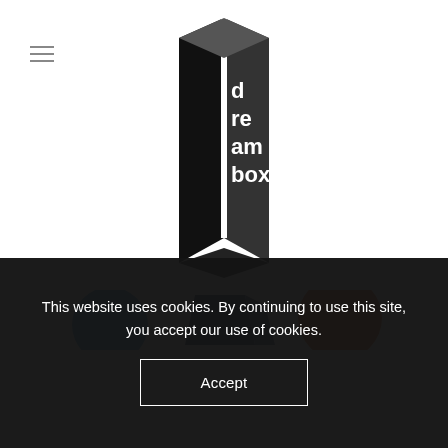[Figure (logo): Dreambox logo: stylized open book shape in black with 'dream box' text split across two pages]
[Figure (illustration): Partial bottom strip showing colorful book covers or product images (blue, dark blue/black, orange circles visible) partially obscured by cookie banner]
This website uses cookies. By continuing to use this site, you accept our use of cookies.
Accept